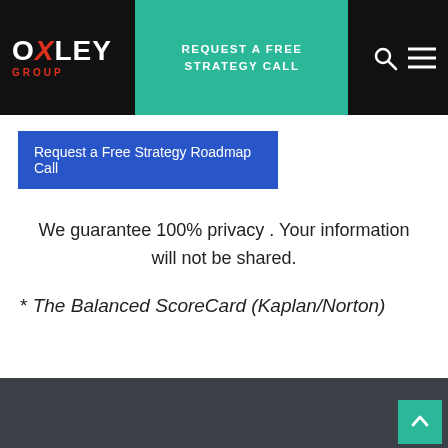OXLEY GROUP — REQUEST A FREE STRATEGY CALL
Request a Free Strategy Roadmap Call
We guarantee 100% privacy . Your information will not be shared.
* The Balanced ScoreCard (Kaplan/Norton)